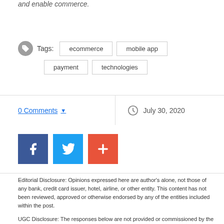and enable commerce.
Tags: ecommerce mobile app payment technologies
0 Comments  July 30, 2020
[Figure (infographic): Social share buttons: Facebook (blue), Twitter (light blue), Plus/Share (orange-red)]
Editorial Disclosure: Opinions expressed here are author's alone, not those of any bank, credit card issuer, hotel, airline, or other entity. This content has not been reviewed, approved or otherwise endorsed by any of the entities included within the post.
UGC Disclosure: The responses below are not provided or commissioned by the bank advertiser. Responses have not been reviewed, approved, or otherwise endorsed by the bank advertiser. It is not the bank advertiser's responsibility to ensure all posts and/or